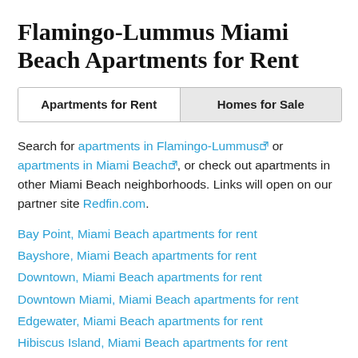Flamingo-Lummus Miami Beach Apartments for Rent
| Apartments for Rent | Homes for Sale |
| --- | --- |
Search for apartments in Flamingo-Lummus or apartments in Miami Beach , or check out apartments in other Miami Beach neighborhoods. Links will open on our partner site Redfin.com.
Bay Point, Miami Beach apartments for rent
Bayshore, Miami Beach apartments for rent
Downtown, Miami Beach apartments for rent
Downtown Miami, Miami Beach apartments for rent
Edgewater, Miami Beach apartments for rent
Hibiscus Island, Miami Beach apartments for rent